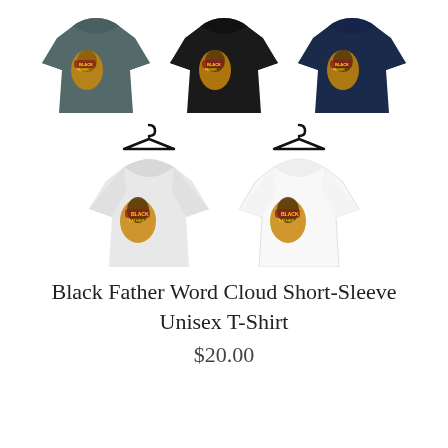[Figure (photo): Five t-shirts displayed in a 3+2 grid layout. Top row: dark grey/slate t-shirt, black t-shirt, navy blue t-shirt — all worn on invisible mannequins with a graphic of a Black man's face with word cloud on left chest. Bottom row: light grey t-shirt and white t-shirt both shown on hangers with same graphic.]
Black Father Word Cloud Short-Sleeve Unisex T-Shirt
$20.00